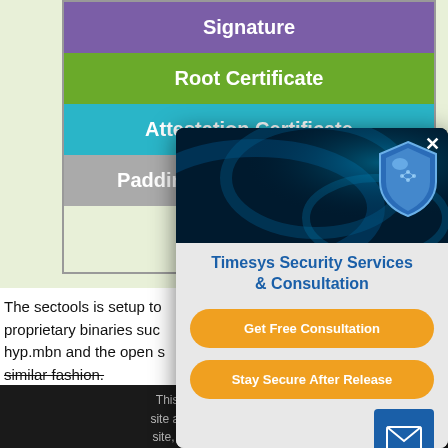[Figure (infographic): Stacked diagram showing layers: Signature (purple), Root Certificate (green), Attestation Certificate (teal), Padding (grey), on a light green background]
The sectools is setup to ... proprietary binaries suc... hyp.mbn and the open s... similar fashion.
This website uses cookie... site and to improve your ex... site, you accept our use of... of Use. To avoid the colle... you can visit this site with...
OK
[Figure (infographic): Timesys Security Services popup modal with shield graphic, title 'Timesys Security Services & Consultation', two orange CTA buttons: 'Get Free Consultation' and 'Stay Secure After Release', close button X, and email icon bottom right]